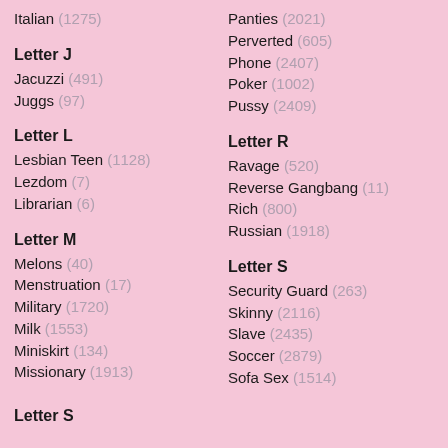Italian (1275)
Letter J
Jacuzzi (491)
Juggs (97)
Letter L
Lesbian Teen (1128)
Lezdom (7)
Librarian (6)
Letter M
Melons (40)
Menstruation (17)
Military (1720)
Milk (1553)
Miniskirt (134)
Missionary (1913)
Letter S
Panties (2021)
Perverted (605)
Phone (2407)
Poker (1002)
Pussy (2409)
Letter R
Ravage (520)
Reverse Gangbang (11)
Rich (800)
Russian (1918)
Letter S
Security Guard (263)
Skinny (2116)
Slave (2435)
Soccer (2879)
Sofa Sex (1514)